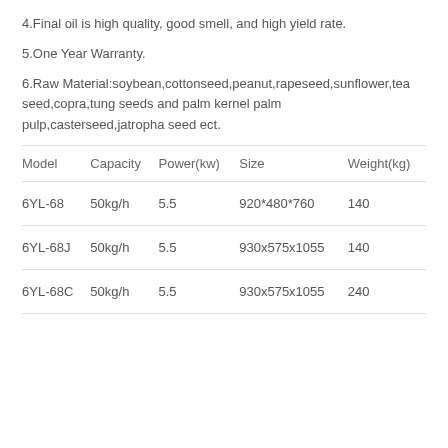4.Final oil is high quality, good smell, and high yield rate.
5.One Year Warranty.
6.Raw Material:soybean,cottonseed,peanut,rapeseed,sunflower,tea seed,copra,tung seeds and palm kernel palm pulp,casterseed,jatropha seed ect.
| Model | Capacity | Power(kw) | Size | Weight(kg) |
| --- | --- | --- | --- | --- |
| 6YL-68 | 50kg/h | 5.5 | 920*480*760 | 140 |
| 6YL-68J | 50kg/h | 5.5 | 930x575x1055 | 140 |
| 6YL-68C | 50kg/h | 5.5 | 930x575x1055 | 240 |